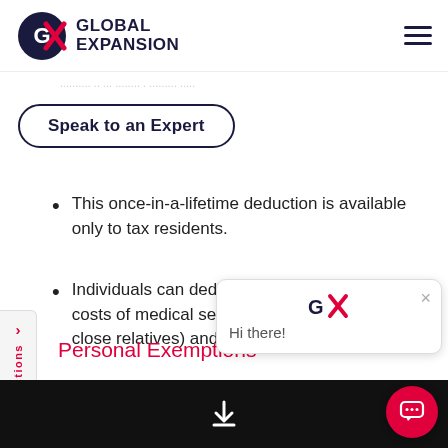Global Expansion
[truncated navigation/breadcrumb text]
Speak to an Expert
This once-in-a-lifetime deduction is available only to tax residents.
Individuals can deduct from taxable income the costs of medical services (for themselves and close relatives) and medicine (goods and services established...
Personal Exemptions